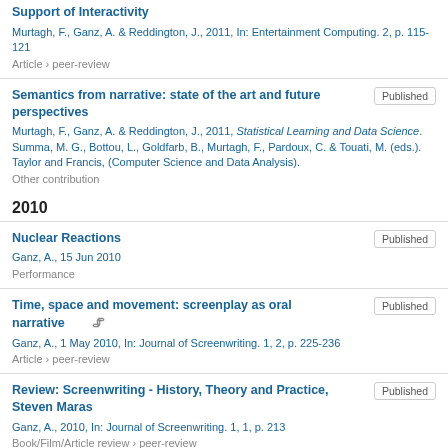Support of Interactivity
Murtagh, F., Ganz, A. & Reddington, J., 2011, In: Entertainment Computing. 2, p. 115-121
Article › peer-review
Semantics from narrative: state of the art and future perspectives
Murtagh, F., Ganz, A. & Reddington, J., 2011, Statistical Learning and Data Science. Summa, M. G., Bottou, L., Goldfarb, B., Murtagh, F., Pardoux, C. & Touati, M. (eds.). Taylor and Francis, (Computer Science and Data Analysis).
Other contribution
2010
Nuclear Reactions
Ganz, A., 15 Jun 2010
Performance
Time, space and movement: screenplay as oral narrative
Ganz, A., 1 May 2010, In: Journal of Screenwriting. 1, 2, p. 225-236
Article › peer-review
Review: Screenwriting - History, Theory and Practice, Steven Maras
Ganz, A., 2010, In: Journal of Screenwriting. 1, 1, p. 213
Book/Film/Article review › peer-review